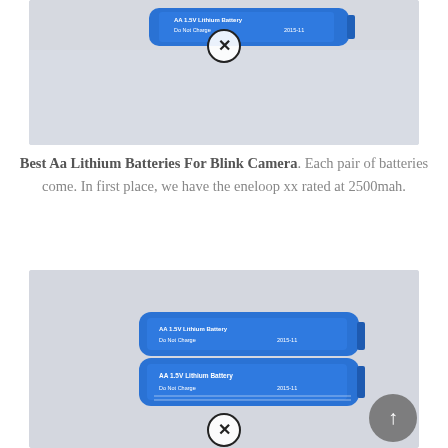[Figure (photo): Photo of AA 1.5V Lithium Battery with Do Not Charge label and close button overlay, light gray background]
Best Aa Lithium Batteries For Blink Camera. Each pair of batteries come. In first place, we have the eneloop xx rated at 2500mah.
[Figure (photo): Photo of two stacked AA 1.5V Lithium Batteries (blue, Do Not Charge, 2015-11) on gray background with scroll-to-top button and close button overlay]